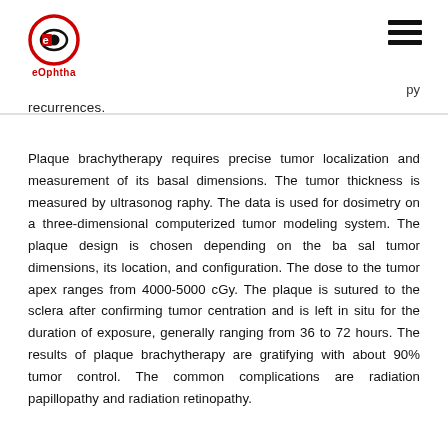eOphtha
recurrences.
Plaque brachytherapy requires precise tumor localization and measurement of its basal dimensions. The tumor thickness is measured by ultrasonography. The data is used for dosimetry on a three-dimensional computerized tumor modeling system. The plaque design is chosen depending on the basal tumor dimensions, its location, and configuration. The dose to the tumor apex ranges from 4000-5000 cGy. The plaque is sutured to the sclera after confirming tumor centration and is left in situ for the duration of exposure, generally ranging from 36 to 72 hours. The results of plaque brachytherapy are gratifying with about 90% tumor control. The common complications are radiation papillopathy and radiation retinopathy.